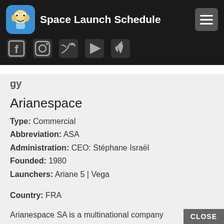Space Launch Schedule
[Figure (screenshot): Social media icons: Facebook, Instagram, Twitter, Google Play, Apple]
Arianespace
Type: Commercial
Abbreviation: ASA
Administration: CEO: Stéphane Israël
Founded: 1980
Launchers: Ariane 5 | Vega
Country: FRA
Arianespace SA is a multinational company founded in 1980 as the world's first comm